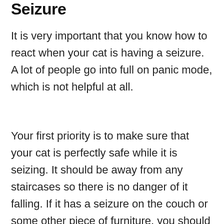Seizure
It is very important that you know how to react when your cat is having a seizure. A lot of people go into full on panic mode, which is not helpful at all.
Your first priority is to make sure that your cat is perfectly safe while it is seizing. It should be away from any staircases so there is no danger of it falling. If it has a seizure on the couch or some other piece of furniture, you should gently move them onto the floor.